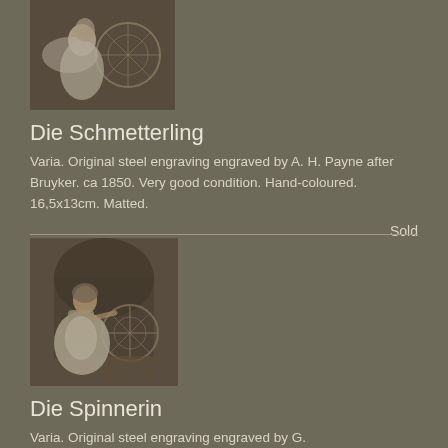[Figure (illustration): Sepia-toned engraving of a female figure in white dress seated at a spinning wheel, with a spinning motion effect]
Die Schmetterling
Varia. Original steel engraving engraved by A. H. Payne after Bruyker. ca 1850. Very good condition. Hand-coloured. 16,5x13cm. Matted.
Sold
[Figure (illustration): Sepia-toned engraving of a woman in traditional dress seated at a spinning wheel inside a rustic interior]
Die Spinnerin
Varia. Original steel engraving engraved by G.